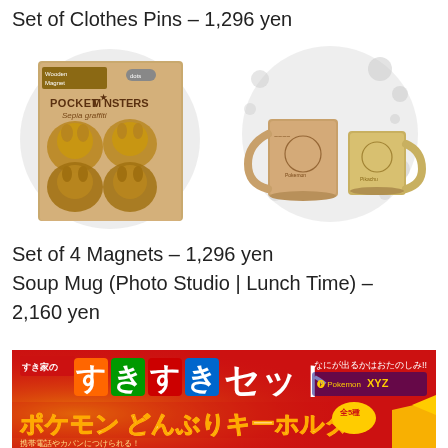Set of Clothes Pins – 1,296 yen
[Figure (photo): Wooden magnet set box with Pocket Monsters Sepia Graffiti design showing Pikachu shaped wooden magnets]
[Figure (photo): Two sepia-toned ceramic soup mugs with Pokemon etched designs on a grey bubble background]
Set of 4 Magnets – 1,296 yen
Soup Mug (Photo Studio | Lunch Time) – 2,160 yen
[Figure (photo): Red promotional banner for Sukiya restaurant Pokemon XYZ campaign featuring Japanese text and bowl keychain promotion]